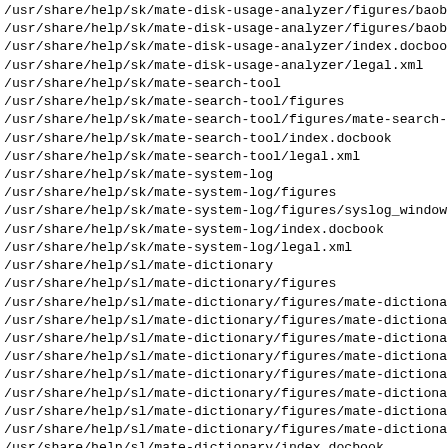/usr/share/help/sk/mate-disk-usage-analyzer/figures/baoba
/usr/share/help/sk/mate-disk-usage-analyzer/figures/baoba
/usr/share/help/sk/mate-disk-usage-analyzer/index.docbook
/usr/share/help/sk/mate-disk-usage-analyzer/legal.xml
/usr/share/help/sk/mate-search-tool
/usr/share/help/sk/mate-search-tool/figures
/usr/share/help/sk/mate-search-tool/figures/mate-search-t
/usr/share/help/sk/mate-search-tool/index.docbook
/usr/share/help/sk/mate-search-tool/legal.xml
/usr/share/help/sk/mate-system-log
/usr/share/help/sk/mate-system-log/figures
/usr/share/help/sk/mate-system-log/figures/syslog_window
/usr/share/help/sk/mate-system-log/index.docbook
/usr/share/help/sk/mate-system-log/legal.xml
/usr/share/help/sl/mate-dictionary
/usr/share/help/sl/mate-dictionary/figures
/usr/share/help/sl/mate-dictionary/figures/mate-dictionar
/usr/share/help/sl/mate-dictionary/figures/mate-dictionar
/usr/share/help/sl/mate-dictionary/figures/mate-dictionar
/usr/share/help/sl/mate-dictionary/figures/mate-dictionar
/usr/share/help/sl/mate-dictionary/figures/mate-dictionar
/usr/share/help/sl/mate-dictionary/figures/mate-dictionar
/usr/share/help/sl/mate-dictionary/figures/mate-dictionar
/usr/share/help/sl/mate-dictionary/figures/mate-dictionar
/usr/share/help/sl/mate-dictionary/index.docbook
/usr/share/help/sl/mate-dictionary/legal.xml
/usr/share/help/sl/mate-disk-usage-analyzer
/usr/share/help/sl/mate-disk-usage-analyzer/figures
/usr/share/help/sl/mate-disk-usage-analyzer/figures/baoba
/usr/share/help/sl/mate-disk-usage-analyzer/figures/baoba
/usr/share/help/sl/mate-disk-usage-analyzer/figures/baoba